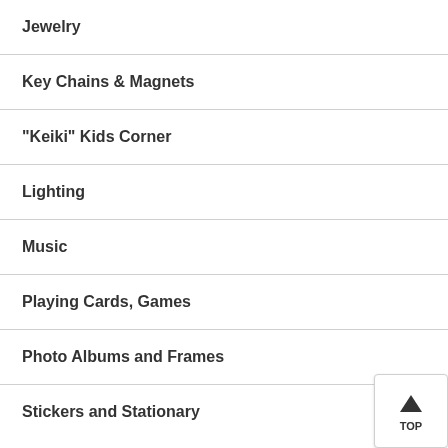Jewelry
Key Chains & Magnets
"Keiki" Kids Corner
Lighting
Music
Playing Cards, Games
Photo Albums and Frames
Stickers and Stationary